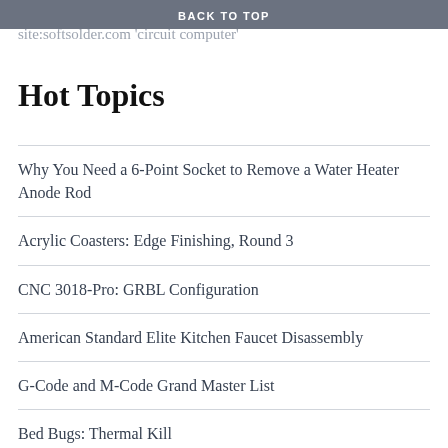or hire a search engine site:softsolder.com 'circuit computer'
BACK TO TOP
Hot Topics
Why You Need a 6-Point Socket to Remove a Water Heater Anode Rod
Acrylic Coasters: Edge Finishing, Round 3
CNC 3018-Pro: GRBL Configuration
American Standard Elite Kitchen Faucet Disassembly
G-Code and M-Code Grand Master List
Bed Bugs: Thermal Kill
Schwalbe Marathon Plus and Michelin Protek vs. Glass Chip